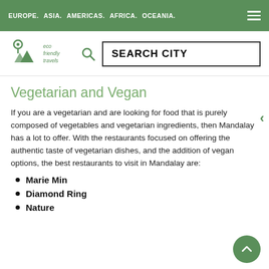EUROPE. ASIA. AMERICAS. AFRICA. OCEANIA.
[Figure (logo): Eco Friendly Travels logo with map pin and mountain shapes in green]
SEARCH CITY
Vegetarian and Vegan
If you are a vegetarian and are looking for food that is purely composed of vegetables and vegetarian ingredients, then Mandalay has a lot to offer. With the restaurants focused on offering the authentic taste of vegetarian dishes, and the addition of vegan options, the best restaurants to visit in Mandalay are:
Marie Min
Diamond Ring
Nature